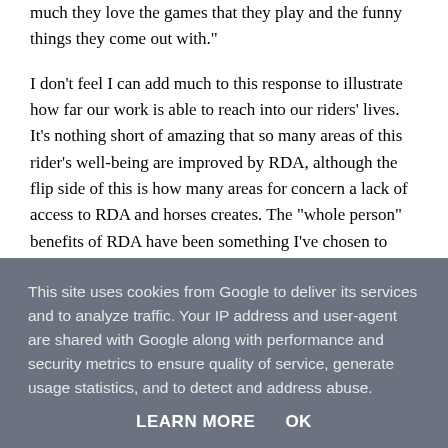...and seeing all the kids improving and I love how much they love the games that they play and the funny things they come out with."
I don't feel I can add much to this response to illustrate how far our work is able to reach into our riders' lives. It's nothing short of amazing that so many areas of this rider's well-being are improved by RDA, although the flip side of this is how many areas for concern a lack of access to RDA and horses creates. The "whole person" benefits of RDA have been something I've chosen to
This site uses cookies from Google to deliver its services and to analyze traffic. Your IP address and user-agent are shared with Google along with performance and security metrics to ensure quality of service, generate usage statistics, and to detect and address abuse.
LEARN MORE   OK